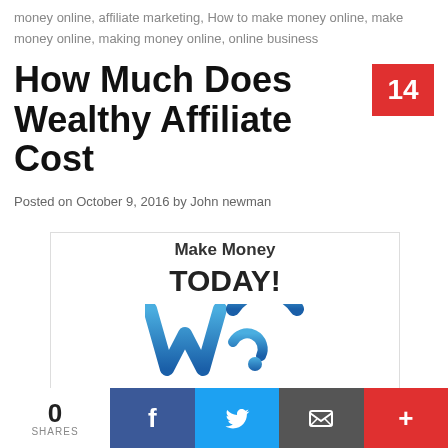money online, affiliate marketing, How to make money online, make money online, making money online, online business
How Much Does Wealthy Affiliate Cost
14
Posted on October 9, 2016 by John newman
[Figure (illustration): Wealthy Affiliate logo with 'Make Money TODAY!' text and blue WA icon above 'Wealthy Affiliate' brand name]
0 SHARES
f
twitter bird icon
email icon
+